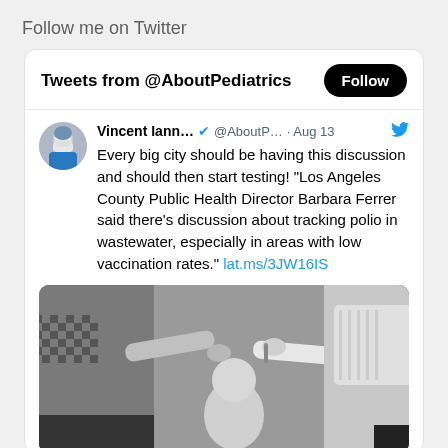Follow me on Twitter
[Figure (screenshot): Twitter widget showing tweets from @AboutPediatrics with a Follow button, a tweet by Vincent Iann... @AboutP... on Aug 13 with text about Los Angeles County Public Health Director Barbara Ferrer discussing tracking polio in wastewater, with a link lat.ms/3JW16IS, and a black-and-white photo of a child receiving a vaccination.]